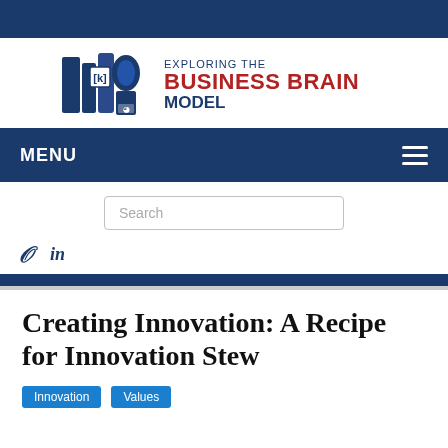[Figure (logo): Exploring the Business Brain Model logo with stylized brain/books icon]
MENU
Search
[Figure (logo): Twitter and LinkedIn social media icons]
Creating Innovation: A Recipe for Innovation Stew
Innovation  Values